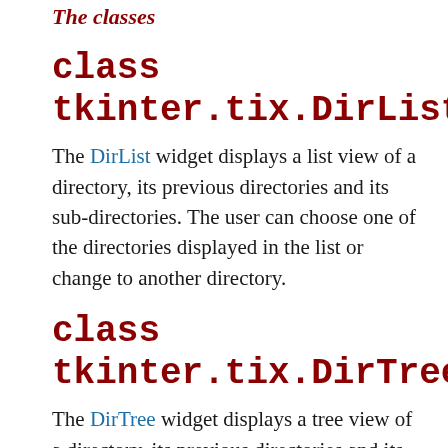The classes
class tkinter.tix.DirList
The DirList widget displays a list view of a directory, its previous directories and its sub-directories. The user can choose one of the directories displayed in the list or change to another directory.
class tkinter.tix.DirTree
The DirTree widget displays a tree view of a directory, its previous directories and its